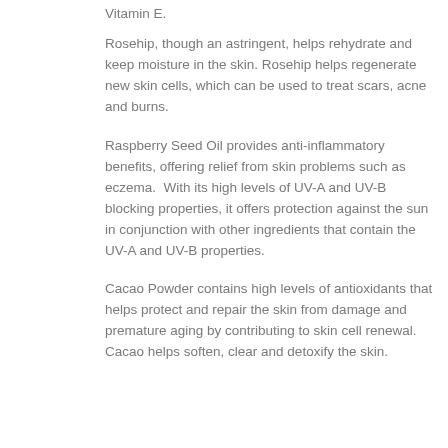Vitamin E.
Rosehip, though an astringent, helps rehydrate and keep moisture in the skin. Rosehip helps regenerate new skin cells, which can be used to treat scars, acne and burns.
Raspberry Seed Oil provides anti-inflammatory benefits, offering relief from skin problems such as eczema. With its high levels of UV-A and UV-B blocking properties, it offers protection against the sun in conjunction with other ingredients that contain the UV-A and UV-B properties.
Cacao Powder contains high levels of antioxidants that helps protect and repair the skin from damage and premature aging by contributing to skin cell renewal. Cacao helps soften, clear and detoxify the skin.